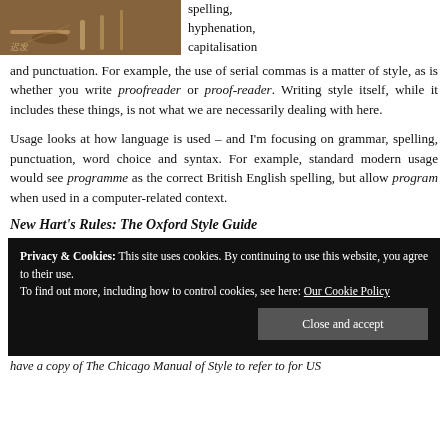[Figure (photo): Photo of proofreading/writing tools on a wooden desk surface, partially visible at top left]
spelling, hyphenation, capitalisation and punctuation. For example, the use of serial commas is a matter of style, as is whether you write proofreader or proof-reader. Writing style itself, while it includes these things, is not what we are necessarily dealing with here.

Usage looks at how language is used – and I'm focusing on grammar, spelling, punctuation, word choice and syntax. For example, standard modern usage would see programme as the correct British English spelling, but allow program when used in a computer-related context.
New Hart's Rules: The Oxford Style Guide
Privacy & Cookies: This site uses cookies. By continuing to use this website, you agree to their use.
To find out more, including how to control cookies, see here: Our Cookie Policy
Close and accept
have a copy of The Chicago Manual of Style to refer to for US